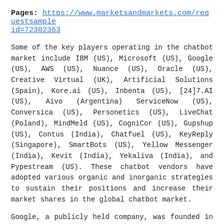Pages: https://www.marketsandmarkets.com/requestsample id=72302363
Some of the key players operating in the chatbot market include IBM (US), Microsoft (US), Google (US), AWS (US), Nuance (US), Oracle (US), Creative Virtual (UK), Artificial Solutions (Spain), Kore.ai (US), Inbenta (US), [24]7.AI (US), Aivo (Argentina) ServiceNow (US), Conversica (US), Personetics (US), LiveChat (Poland), MindMeld (US), CogniCor (US), Gupshup (US), Contus (India), Chatfuel (US), KeyReply (Singapore), SmartBots (US), Yellow Messenger (India), Kevit (India), Yekaliva (India), and Pypestream (US). These chatbot vendors have adopted various organic and inorganic strategies to sustain their positions and increase their market shares in the global chatbot market.
Google, a publicly held company, was founded in 1998 and is headquartered in California, US. The company's parent organization, Alphabet, was founded in 2015. Google's product innovations witness an increase in the use of its